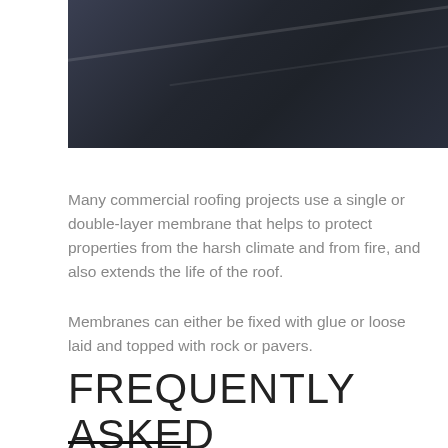[Figure (photo): Dark roofing material with diagonal lines and texture, viewed close-up]
Many commercial roofing projects use a single or double-layer membrane that helps to protect properties from the harsh climate and from fire, and also extends the life of the roof.
Membranes can either be fixed with glue or loose laid and topped with rock or pavers.
FREQUENTLY ASKED QUESTIONS